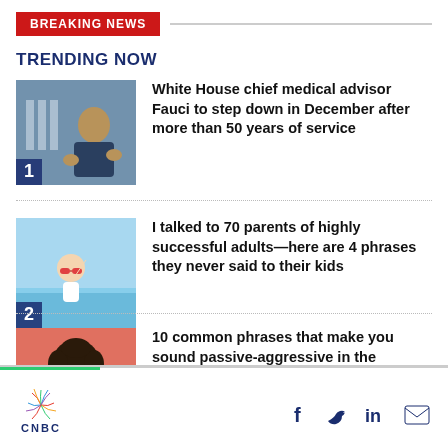BREAKING NEWS
TRENDING NOW
White House chief medical advisor Fauci to step down in December after more than 50 years of service
I talked to 70 parents of highly successful adults—here are 4 phrases they never said to their kids
10 common phrases that make you sound passive-aggressive in the workplace
CNBC — social icons: Facebook, Twitter, LinkedIn, Email